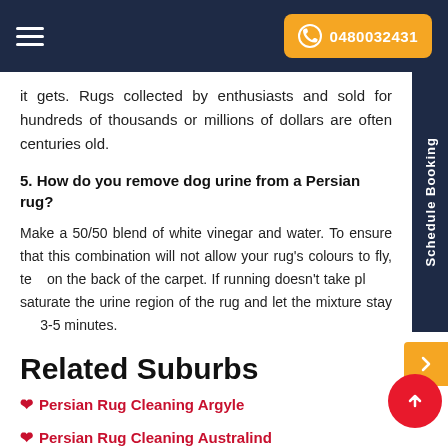0480032431
it gets. Rugs collected by enthusiasts and sold for hundreds of thousands or millions of dollars are often centuries old.
5. How do you remove dog urine from a Persian rug?
Make a 50/50 blend of white vinegar and water. To ensure that this combination will not allow your rug's colours to fly, test on the back of the carpet. If running doesn't take place, saturate the urine region of the rug and let the mixture stay 3-5 minutes.
Related Suburbs
Persian Rug Cleaning Argyle
Persian Rug Cleaning Australind
Persian Rug Cleaning Beelerup